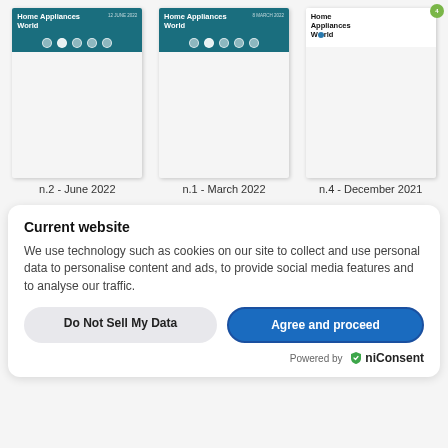[Figure (screenshot): Magazine cover: Home Appliances World n.2 June 2022, outdoor cooking theme with teal header]
n.2 - June 2022
[Figure (screenshot): Magazine cover: Home Appliances World n.1 March 2022, kitchen island theme with teal header]
n.1 - March 2022
[Figure (screenshot): Magazine cover: Home Appliances World n.4 December 2021, modern kitchen theme with white header and green badge]
n.4 - December 2021
Current website
We use technology such as cookies on our site to collect and use personal data to personalise content and ads, to provide social media features and to analyse our traffic.
Do Not Sell My Data
Agree and proceed
Powered by OniConsent